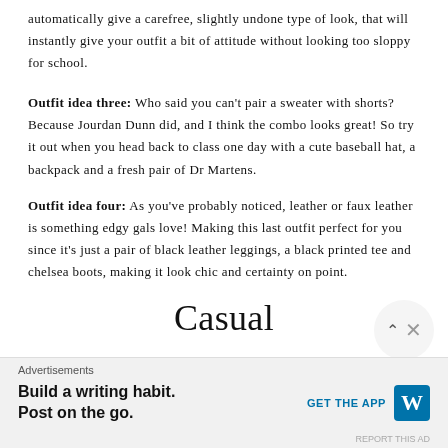automatically give a carefree, slightly undone type of look, that will instantly give your outfit a bit of attitude without looking too sloppy for school.
Outfit idea three: Who said you can't pair a sweater with shorts? Because Jourdan Dunn did, and I think the combo looks great! So try it out when you head back to class one day with a cute baseball hat, a backpack and a fresh pair of Dr Martens.
Outfit idea four: As you've probably noticed, leather or faux leather is something edgy gals love! Making this last outfit perfect for you since it's just a pair of black leather leggings, a black printed tee and chelsea boots, making it look chic and certainty on point.
Casual
Advertisements
Build a writing habit. Post on the go.
GET THE APP